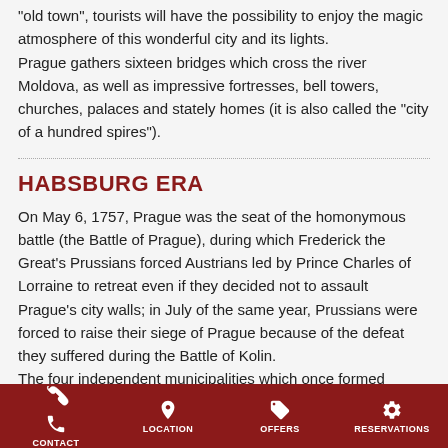"old town", tourists will have the possibility to enjoy the magic atmosphere of this wonderful city and its lights.
Prague gathers sixteen bridges which cross the river Moldova, as well as impressive fortresses, bell towers, churches, palaces and stately homes (it is also called the "city of a hundred spires").
HABSBURG ERA
On May 6, 1757, Prague was the seat of the homonymous battle (the Battle of Prague), during which Frederick the Great's Prussians forced Austrians led by Prince Charles of Lorraine to retreat even if they decided not to assault Prague's city walls; in July of the same year, Prussians were forced to raise their siege of Prague because of the defeat they suffered during the Battle of Kolin.
The four independent municipalities which once formed Prague merged into a single town in 1784. Prague's St. Vitus Cathedral
CONTACT  LOCATION  OFFERS  RESERVATIONS